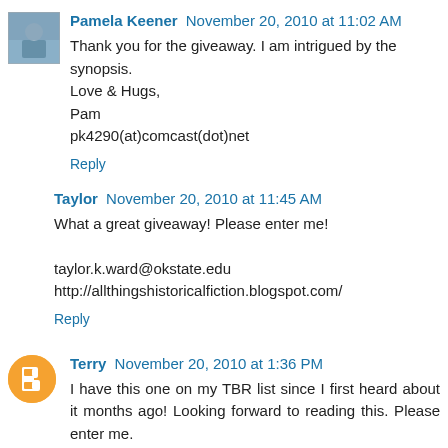Pamela Keener November 20, 2010 at 11:02 AM
Thank you for the giveaway. I am intrigued by the synopsis.
Love & Hugs,
Pam
pk4290(at)comcast(dot)net
Reply
Taylor November 20, 2010 at 11:45 AM
What a great giveaway! Please enter me!

taylor.k.ward@okstate.edu
http://allthingshistoricalfiction.blogspot.com/
Reply
Terry November 20, 2010 at 1:36 PM
I have this one on my TBR list since I first heard about it months ago! Looking forward to reading this. Please enter me.